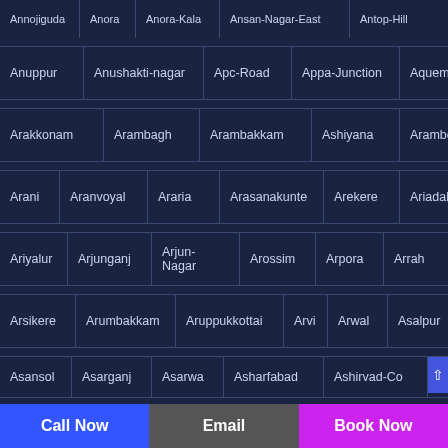Annojiguda | Anora | Anora-Kala | Ansan-Nagar-East | Antop-Hill
Anuppur | Anushakti-nagar | Apc-Road | Appa-Junction | Aquem
Arakkonam | Arambagh | Arambakkam | Ashiyana | Arambol
Arani | Aranvoyal | Araria | Arasanakunte | Arekere | Ariadaha
Ariyalur | Arjunganj | Arjun-Nagar | Arossim | Arpora | Arrah
Arsikere | Arumbakkam | Aruppukkottai | Arvi | Arwal | Asalpur
Asansol | Asarganj | Asarwa | Asharfabad | Ashirvad-Colony
Call Now | Email | Book Now